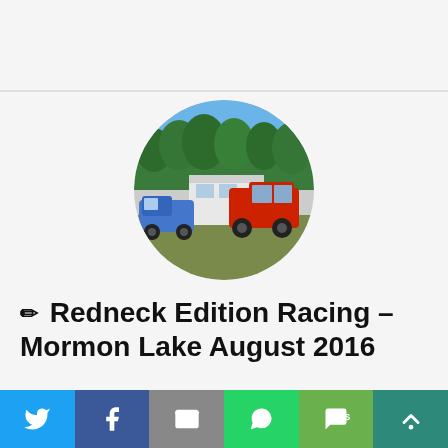[Figure (photo): Circular profile/header photo showing off-road racing vehicles including a red truck and white camper trailer at Mormon Lake, AZ, with pine trees in the background under a blue sky.]
✏ Redneck Edition Racing – Mormon Lake August 2016
Mormon Lake, AZ (August 13-14, 2016) – We had a few weeks of a break between races this time.  Now we're heading to Mormon Lake,